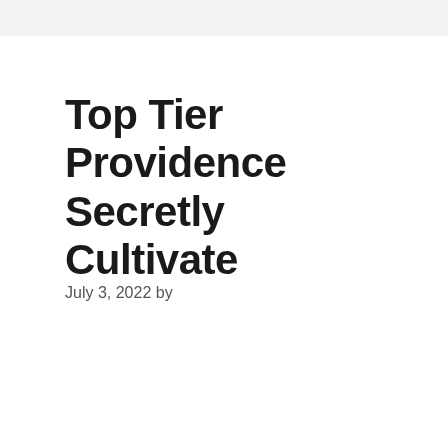Top Tier Providence Secretly Cultivate
July 3, 2022 by